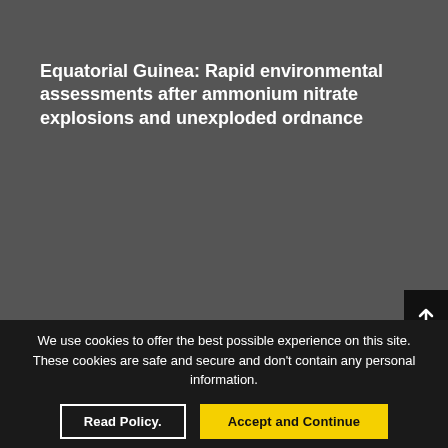Equatorial Guinea: Rapid environmental assessments after ammonium nitrate explosions and unexploded ordnance
We use cookies to offer the best possible experience on this site. These cookies are safe and secure and don't contain any personal information.